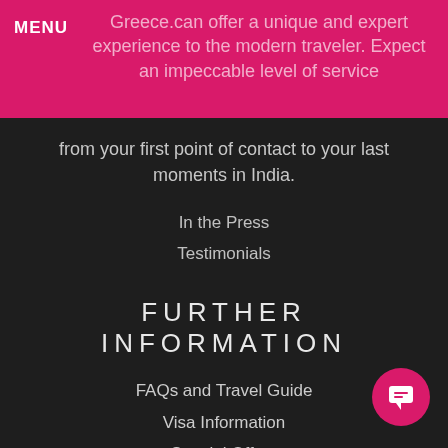MENU
Greece.can offer a unique and expert experience to the modern traveler. Expect an impeccable level of service from your first point of contact to your last moments in India.
In the Press
Testimonials
FURTHER INFORMATION
FAQs and Travel Guide
Visa Information
Special Offers
Sustainable Tourism
Request a Callback
Contact Us
Booking Form